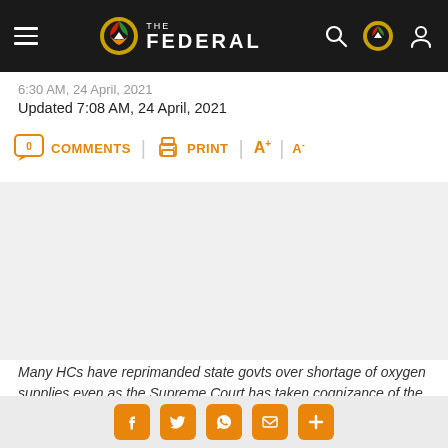THE FEDERAL
6:30 AM, 24 April, 2021
Updated 7:08 AM, 24 April, 2021
0 COMMENTS  PRINT  A+  A-
[Figure (photo): News article image placeholder - blank/loading area]
Many HCs have reprimanded state govts over shortage of oxygen supplies even as the Supreme Court has taken cognizance of the same.
Social share icons: Facebook, Twitter, WhatsApp, Email, More